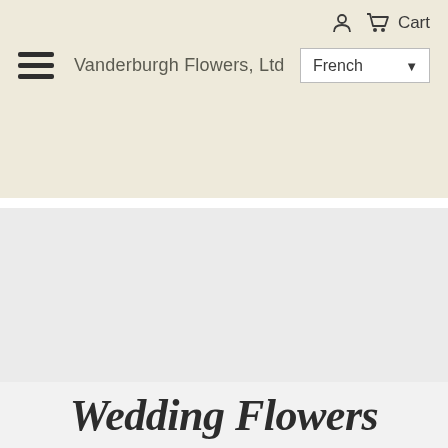Vanderburgh Flowers, Ltd
[Figure (screenshot): Hero/banner image area — large light gray rectangle representing a placeholder image]
Wedding Flowers